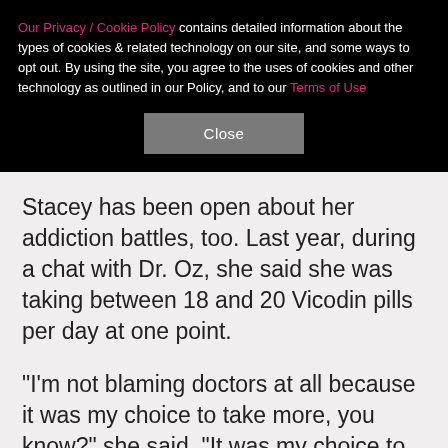Our Privacy / Cookie Policy contains detailed information about the types of cookies & related technology on our site, and some ways to opt out. By using the site, you agree to the uses of cookies and other technology as outlined in our Policy, and to our Terms of Use
Close
Stacey has been open about her addiction battles, too. Last year, during a chat with Dr. Oz, she said she was taking between 18 and 20 Vicodin pills per day at one point.
"I'm not blaming doctors at all because it was my choice to take more, you know?" she said. "It was my choice to take that extra one even though I wasn't in pain. I cho to do that because the Vicodin filled that hole inside o